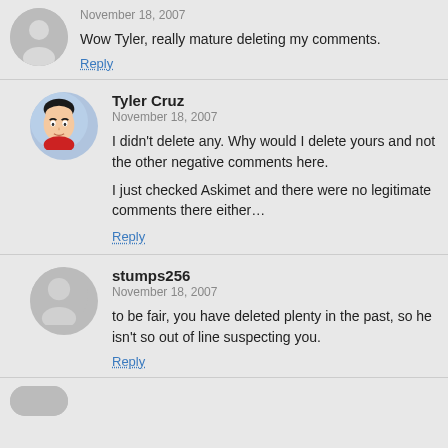November 18, 2007
Wow Tyler, really mature deleting my comments.
Reply
Tyler Cruz
November 18, 2007
I didn't delete any. Why would I delete yours and not the other negative comments here.

I just checked Askimet and there were no legitimate comments there either...
Reply
stumps256
November 18, 2007
to be fair, you have deleted plenty in the past, so he isn't so out of line suspecting you.
Reply